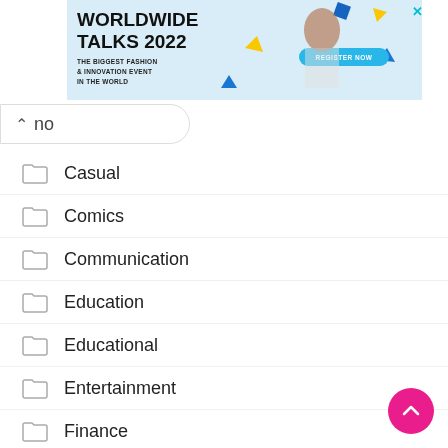[Figure (infographic): Worldwide Talks 2022 advertisement banner - light blue background with fashion model, geometric shapes, and 'Register Now' button]
no
Casual
Comics
Communication
Education
Educational
Entertainment
Finance
Food & Drink